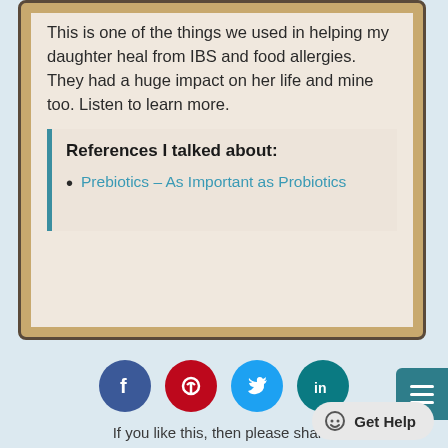This is one of the things we used in helping my daughter heal from IBS and food allergies. They had a huge impact on her life and mine too. Listen to learn more.
References I talked about:
Prebiotics – As Important as Probiotics
[Figure (infographic): Social media share buttons: Facebook (dark blue), Pinterest (red), Twitter (light blue), LinkedIn (dark teal)]
If you like this, then please share!
Get Help